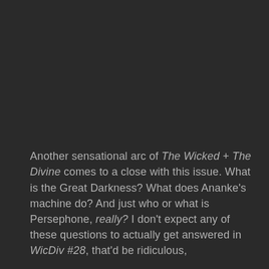Another sensational arc of The Wicked + The Divine comes to a close with this issue. What is the Great Darkness? What does Ananke's machine do? And just who or what is Persephone, really? I don't expect any of these questions to actually get answered in WicDiv #28, that'd be ridiculous,